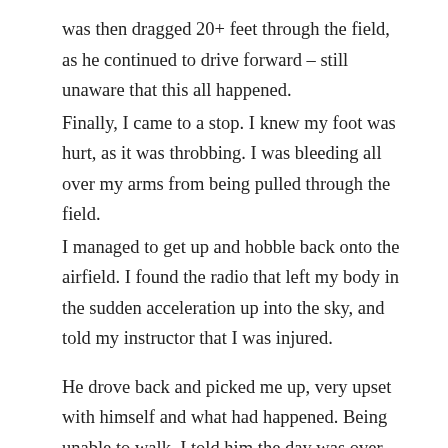was then dragged 20+ feet through the field, as he continued to drive forward – still unaware that this all happened. Finally, I came to a stop. I knew my foot was hurt, as it was throbbing. I was bleeding all over my arms from being pulled through the field. I managed to get up and hobble back onto the airfield. I found the radio that left my body in the sudden acceleration up into the sky, and told my instructor that I was injured. He drove back and picked me up, very upset with himself and what had happened. Being unable to walk, I told him the day was over – and that I was